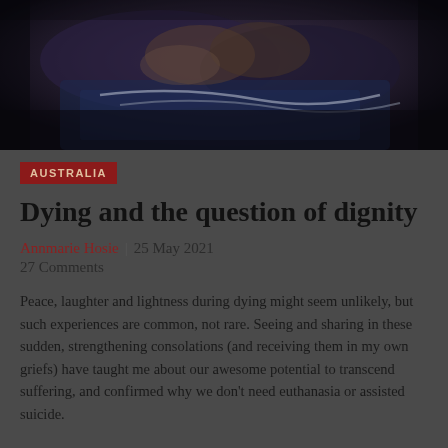[Figure (photo): Close-up photograph of elderly hands resting, with blue fabric/clothing and what appears to be medical tubing in a dark, moody composition]
AUSTRALIA
Dying and the question of dignity
Annmarie Hosie | 25 May 2021
27 Comments
Peace, laughter and lightness during dying might seem unlikely, but such experiences are common, not rare. Seeing and sharing in these sudden, strengthening consolations (and receiving them in my own griefs) have taught me about our awesome potential to transcend suffering, and confirmed why we don't need euthanasia or assisted suicide.